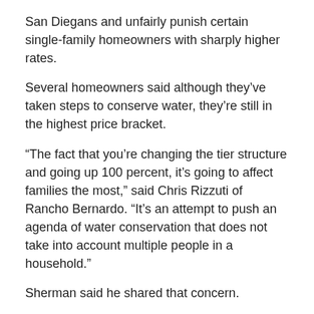San Diegans and unfairly punish certain single-family homeowners with sharply higher rates.
Several homeowners said although they've taken steps to conserve water, they're still in the highest price bracket.
“The fact that you’re changing the tier structure and going up 100 percent, it’s going to affect families the most,” said Chris Rizzuti of Rancho Bernardo. “It’s an attempt to push an agenda of water conservation that does not take into account multiple people in a household.”
Sherman said he shared that concern.
read more at: http://m.utsandiego.com/news/2013/nov/22/tp-san-diego-water-rates-to-rise-15-percent/